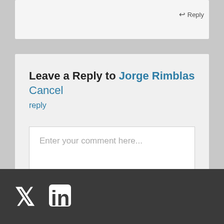Reply
Leave a Reply to Jorge Rimblas Cancel reply
Enter your comment here...
[Figure (other): Twitter and LinkedIn social media icons in white on dark footer bar]